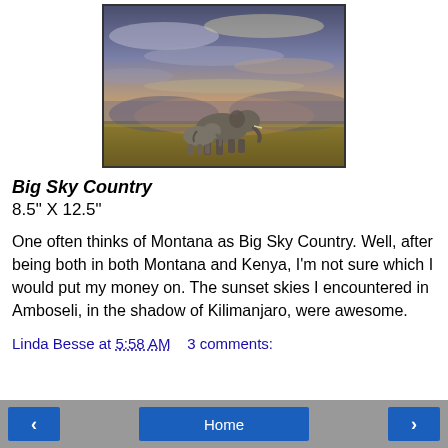[Figure (illustration): Painting of two elephants walking across an African savanna under a dramatic stormy sunset sky, Amboseli, Kenya]
Big Sky Country
8.5" X 12.5"
One often thinks of Montana as Big Sky Country. Well, after being both in both Montana and Kenya, I'm not sure which I would put my money on. The sunset skies I encountered in Amboseli, in the shadow of Kilimanjaro, were awesome.
Linda Besse at 5:58 AM   3 comments:
< Home >